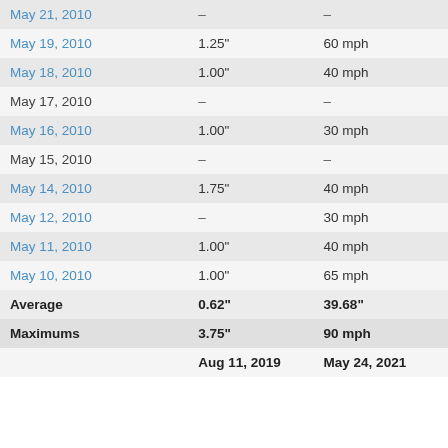| Date | Hail Size | Wind Speed |
| --- | --- | --- |
| May 21, 2010 | – | – |
| May 19, 2010 | 1.25" | 60 mph |
| May 18, 2010 | 1.00" | 40 mph |
| May 17, 2010 | – | – |
| May 16, 2010 | 1.00" | 30 mph |
| May 15, 2010 | – | – |
| May 14, 2010 | 1.75" | 40 mph |
| May 12, 2010 | – | 30 mph |
| May 11, 2010 | 1.00" | 40 mph |
| May 10, 2010 | 1.00" | 65 mph |
| Average | 0.62" | 39.68" |
| Maximums | 3.75" | 90 mph |
|  | Aug 11, 2019 | May 24, 2021 |